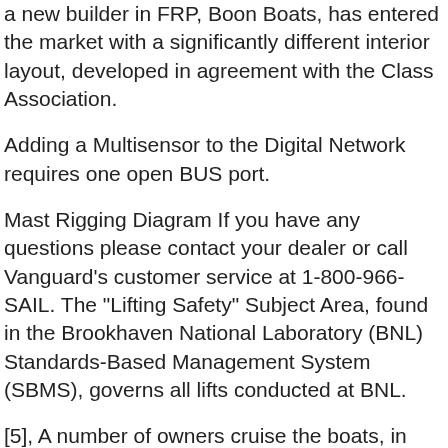a new builder in FRP, Boon Boats, has entered the market with a significantly different interior layout, developed in agreement with the Class Association.
Adding a Multisensor to the Digital Network requires one open BUS port.
Mast Rigging Diagram If you have any questions please contact your dealer or call Vanguard's customer service at 1-800-966-SAIL. The "Lifting Safety" Subject Area, found in the Brookhaven National Laboratory (BNL) Standards-Based Management System (SBMS), governs all lifts conducted at BNL.
[5], A number of owners cruise the boats, in some cases as well as racing them and in other cases in preference to racing, and cruises have ranged from the gentlest day sailing to such ambitious undertakings as crossings of the English Channel and the Irish